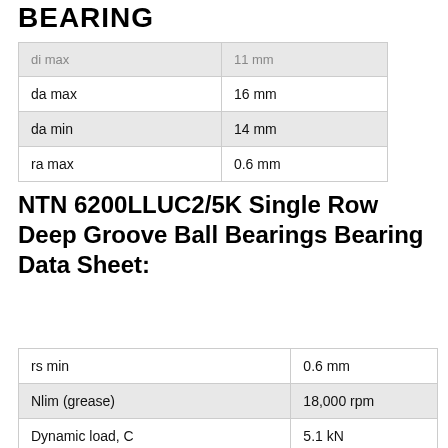BEARING
| di max | 11 mm |
| da max | 16 mm |
| da min | 14 mm |
| ra max | 0.6 mm |
NTN 6200LLUC2/5K Single Row Deep Groove Ball Bearings Bearing Data Sheet:
| rs min | 0.6 mm |
| Nlim (grease) | 18,000 rpm |
| Dynamic load, C | 5.1 kN |
| Static load, C0 | 2.39 kN |
| Fatigue limit load, Cu | 0.11 kN |